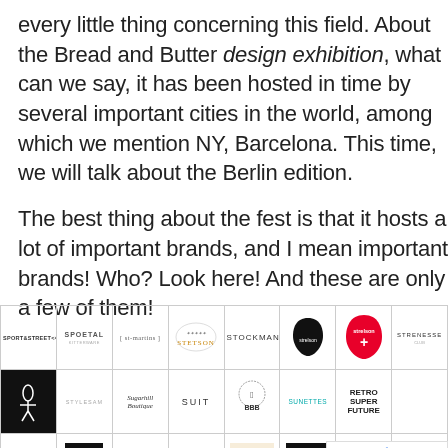every little thing concerning this field. About the Bread and Butter design exhibition, what can we say, it has been hosted in time by several important cities in the world, among which we mention NY, Barcelona. This time, we will talk about the Berlin edition.

The best thing about the fest is that it hosts a lot of important brands, and I mean important brands! Who? Look here! And these are only a few of them!
[Figure (other): A grid of brand logos including SPORT&STREET, SPOETAL, st-martins, STETSON, STOCKMAN, Strelson (guitar pick black), Strelson (red), STRENESSE, STUNNY, STYLESAM, Sugarhill Boutique, SUIT, BBB (lion logo), SUNETTES, RETRO SUPER FUTURE, reCAPTCHA overlay, SUPERTRASH, SVEA, MAKERS ELEMENTS, and other partial logos]